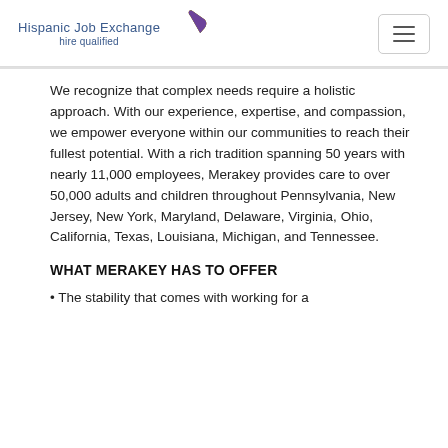Hispanic Job Exchange hire qualified
We recognize that complex needs require a holistic approach. With our experience, expertise, and compassion, we empower everyone within our communities to reach their fullest potential. With a rich tradition spanning 50 years with nearly 11,000 employees, Merakey provides care to over 50,000 adults and children throughout Pennsylvania, New Jersey, New York, Maryland, Delaware, Virginia, Ohio, California, Texas, Louisiana, Michigan, and Tennessee.
WHAT MERAKEY HAS TO OFFER
• The stability that comes with working for a